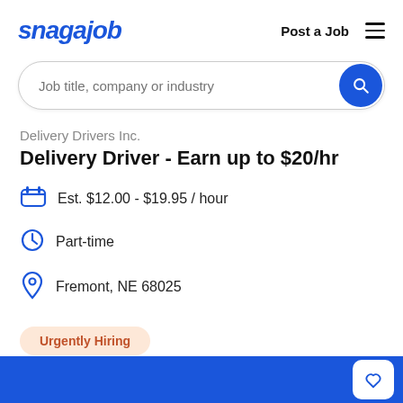snagajob | Post a Job
[Figure (screenshot): Search bar with placeholder text 'Job title, company or industry' and blue search button]
Delivery Drivers Inc.
Delivery Driver - Earn up to $20/hr
Est. $12.00 - $19.95 / hour
Part-time
Fremont, NE 68025
Urgently Hiring